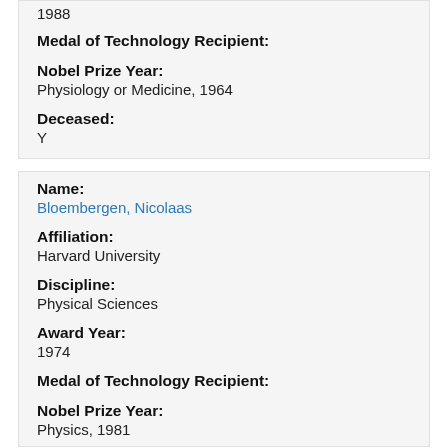1988
Medal of Technology Recipient:
Nobel Prize Year:
Physiology or Medicine, 1964
Deceased:
Y
Name:
Bloembergen, Nicolaas
Affiliation:
Harvard University
Discipline:
Physical Sciences
Award Year:
1974
Medal of Technology Recipient:
Nobel Prize Year:
Physics, 1981